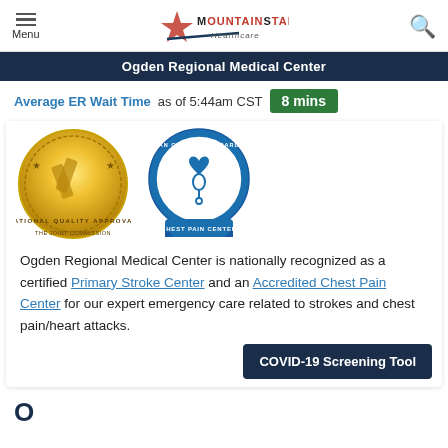Menu | MountainStar Healthcare
Ogden Regional Medical Center
Average ER Wait Time as of 5:44am CST  8 mins
[Figure (illustration): Two certification badges: National Quality Approval gold seal and American College of Cardiology Chest Pain Center blue badge]
Ogden Regional Medical Center is nationally recognized as a certified Primary Stroke Center and an Accredited Chest Pain Center for our expert emergency care related to strokes and chest pain/heart attacks.
COVID-19 Screening Tool